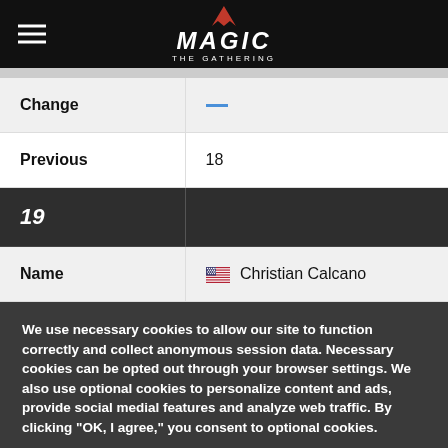MAGIC THE GATHERING
|  |  |
| --- | --- |
| Change | — |
| Previous | 18 |
| 19 |  |
| Name | 🇺🇸 Christian Calcano |
We use necessary cookies to allow our site to function correctly and collect anonymous session data. Necessary cookies can be opted out through your browser settings. We also use optional cookies to personalize content and ads, provide social medial features and analyze web traffic. By clicking "OK, I agree," you consent to optional cookies. (Learn more about cookies.)
OK, I agree    No, thanks